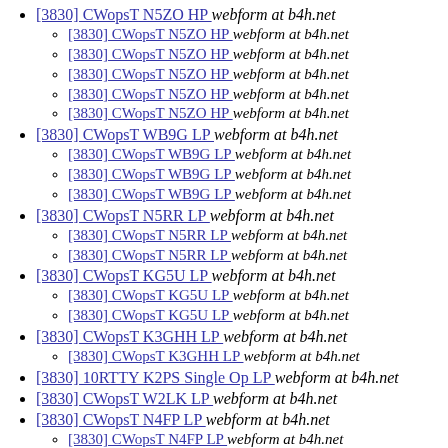[3830] CWopsT N5ZO HP  webform at b4h.net
[3830] CWopsT N5ZO HP  webform at b4h.net
[3830] CWopsT N5ZO HP  webform at b4h.net
[3830] CWopsT N5ZO HP  webform at b4h.net
[3830] CWopsT N5ZO HP  webform at b4h.net
[3830] CWopsT N5ZO HP  webform at b4h.net
[3830] CWopsT WB9G LP  webform at b4h.net
[3830] CWopsT WB9G LP  webform at b4h.net
[3830] CWopsT WB9G LP  webform at b4h.net
[3830] CWopsT WB9G LP  webform at b4h.net
[3830] CWopsT N5RR LP  webform at b4h.net
[3830] CWopsT N5RR LP  webform at b4h.net
[3830] CWopsT N5RR LP  webform at b4h.net
[3830] CWopsT KG5U LP  webform at b4h.net
[3830] CWopsT KG5U LP  webform at b4h.net
[3830] CWopsT KG5U LP  webform at b4h.net
[3830] CWopsT K3GHH LP  webform at b4h.net
[3830] CWopsT K3GHH LP  webform at b4h.net
[3830] 10RTTY K2PS Single Op LP  webform at b4h.net
[3830] CWopsT W2LK LP  webform at b4h.net
[3830] CWopsT N4FP LP  webform at b4h.net
[3830] CWopsT N4FP LP  webform at b4h.net
[3830] CWopsT N4FP LP  webform at b4h.net
[3830] CWopsT N4FP LP  webform at b4h.net
[3830] CWopsT N4FP LP  webform at b4h.net